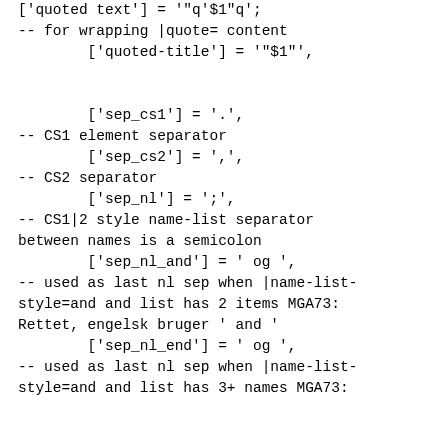['quoted text'] = '"q'$1"q';  -- for wrapping |quote= content         ['quoted-title'] = '"$1"',          ['sep_cs1'] = '.', -- CS1 element separator         ['sep_cs2'] = ',', -- CS2 separator         ['sep_nl'] = ';', -- CS1|2 style name-list separator between names is a semicolon         ['sep_nl_and'] = ' og ', -- used as last nl sep when |name-list-style=and and list has 2 items MGA73: Rettet, engelsk bruger ' and '         ['sep_nl_end'] = ' og ', -- used as last nl sep when |name-list-style=and and list has 3+ names MGA73: